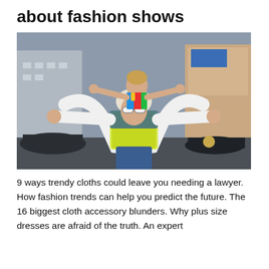about fashion shows
[Figure (photo): A young man wearing sunglasses and a beanie hat with arms spread wide, carrying a young boy with a colorful shirt on his shoulders, both with arms outstretched, standing on or near a car on a city street.]
9 ways trendy cloths could leave you needing a lawyer. How fashion trends can help you predict the future. The 16 biggest cloth accessory blunders. Why plus size dresses are afraid of the truth. An expert